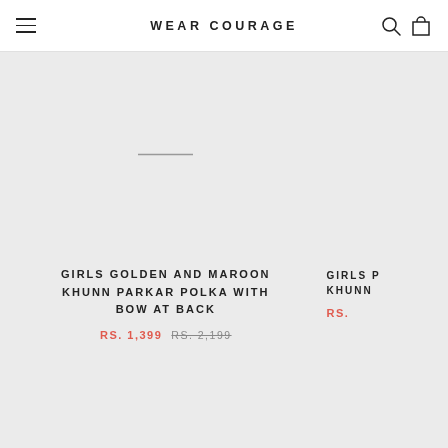WEAR COURAGE
[Figure (photo): Product image placeholder for Girls Golden and Maroon Khunn Parkar Polka With Bow At Back (main product, image area appears empty/loading)]
GIRLS GOLDEN AND MAROON KHUNN PARKAR POLKA WITH BOW AT BACK
RS. 1,399  RS. 2,199
[Figure (photo): Product image placeholder for Girls P... Khunn... (partially visible, right side product card)]
GIRLS P... KHUNN...
RS. ...